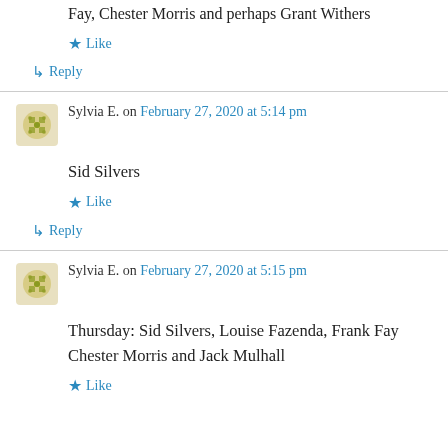Fay, Chester Morris and perhaps Grant Withers
★ Like
↳ Reply
Sylvia E. on February 27, 2020 at 5:14 pm
Sid Silvers
★ Like
↳ Reply
Sylvia E. on February 27, 2020 at 5:15 pm
Thursday: Sid Silvers, Louise Fazenda, Frank Fay Chester Morris and Jack Mulhall
★ Like